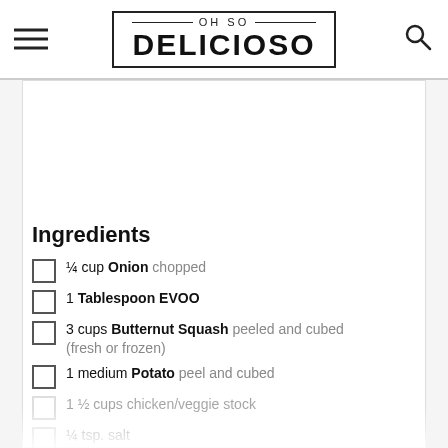OH SO DELICIOSO
Ingredients
¼ cup Onion chopped
1 Tablespoon EVOO
3 cups Butternut Squash peeled and cubed (fresh or frozen)
1 medium Potato peel and cubed
1 ½ cups chicken/veggie stock
¼ tsp. salt
¼ C evaporated milk